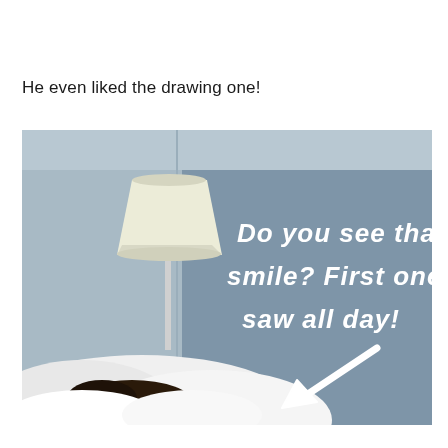He even liked the drawing one!
[Figure (photo): A bedroom scene with a white lamp on a gray-blue wall, white bedding and a person's head peeking over the bed. White hand-drawn style text on the wall reads 'Do you see that smile? First one I saw all day!' with a drawn arrow pointing down toward the person.]